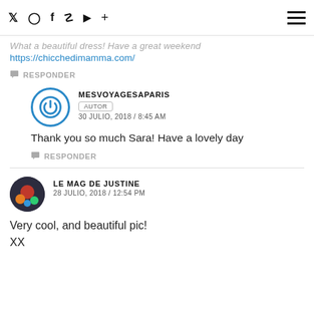Social icons: Twitter, Instagram, Facebook, Pinterest, YouTube, Plus | Hamburger menu
What a beautiful dress! Have a great weekend
https://chicchedimamma.com/
↩ RESPONDER
MESVOYAGESAPARIS AUTOR 30 JULIO, 2018 / 8:45 AM
Thank you so much Sara! Have a lovely day
↩ RESPONDER
LE MAG DE JUSTINE 28 JULIO, 2018 / 12:54 PM
Very cool, and beautiful pic!
XX